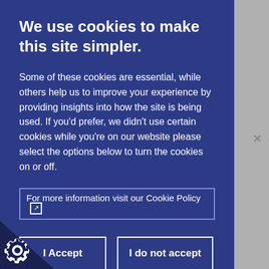We use cookies to make this site simpler.
Some of these cookies are essential, while others help us to improve your experience by providing insights into how the site is being used. If you'd prefer, we didn't use certain cookies while you're on our website please select the options below to turn the cookies on or off.
For more information visit our Cookie Policy
I Accept | I do not accept
Necessary Cookies
ecessary cookies enable core functionality. The website function properly without these cookies, and can